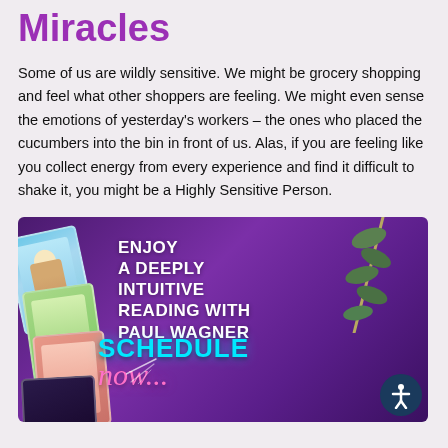Miracles
Some of us are wildly sensitive. We might be grocery shopping and feel what other shoppers are feeling. We might even sense the emotions of yesterday’s workers – the ones who placed the cucumbers into the bin in front of us.  Alas, if you are feeling like you collect energy from every experience and find it difficult to shake it, you might be a Highly Sensitive Person.
[Figure (illustration): Advertisement on a purple background. Left side shows a stack of illustrated tarot-style cards. Center text reads: ENJOY A DEEPLY INTUITIVE READING WITH PAUL WAGNER. Bottom text reads: SCHEDULE NOW... in cyan and pink neon lettering. Top right has a eucalyptus branch. Bottom right has an accessibility icon button.]